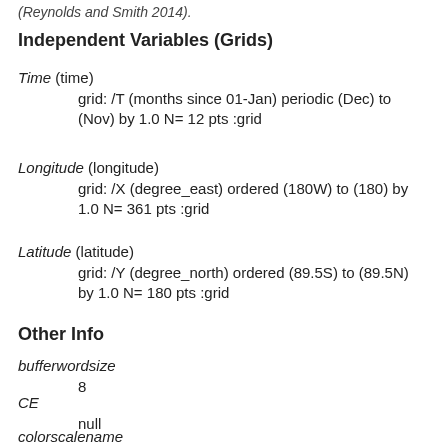(Reynolds and Smith 2014).
Independent Variables (Grids)
Time (time)
    grid: /T (months since 01-Jan) periodic (Dec) to (Nov) by 1.0 N= 12 pts :grid
Longitude (longitude)
    grid: /X (degree_east) ordered (180W) to (180) by 1.0 N= 361 pts :grid
Latitude (latitude)
    grid: /Y (degree_north) ordered (89.5S) to (89.5N) by 1.0 N= 180 pts :grid
Other Info
bufferwordsize
    8
CE
    null
colorscalename
    sstacolorscale
CS
    null